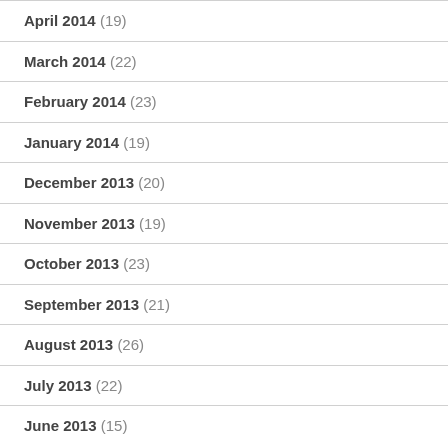April 2014 (19)
March 2014 (22)
February 2014 (23)
January 2014 (19)
December 2013 (20)
November 2013 (19)
October 2013 (23)
September 2013 (21)
August 2013 (26)
July 2013 (22)
June 2013 (15)